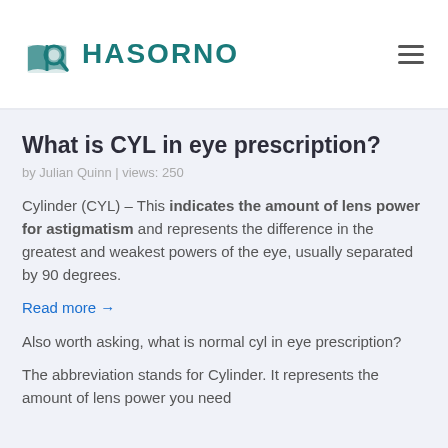HASORNO
What is CYL in eye prescription?
by Julian Quinn | views: 250
Cylinder (CYL) – This indicates the amount of lens power for astigmatism and represents the difference in the greatest and weakest powers of the eye, usually separated by 90 degrees.
Read more →
Also worth asking, what is normal cyl in eye prescription?
The abbreviation stands for Cylinder. It represents the amount of lens power you need